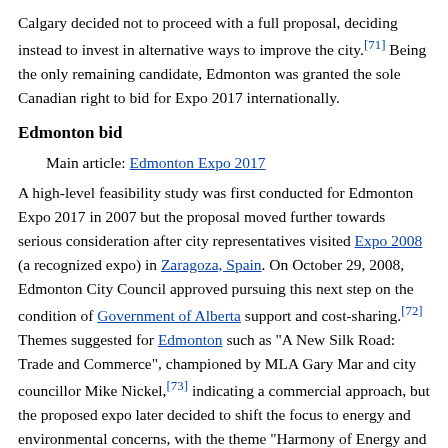Calgary decided not to proceed with a full proposal, deciding instead to invest in alternative ways to improve the city.[71] Being the only remaining candidate, Edmonton was granted the sole Canadian right to bid for Expo 2017 internationally.
Edmonton bid
Main article: Edmonton Expo 2017
A high-level feasibility study was first conducted for Edmonton Expo 2017 in 2007 but the proposal moved further towards serious consideration after city representatives visited Expo 2008 (a recognized expo) in Zaragoza, Spain. On October 29, 2008, Edmonton City Council approved pursuing this next step on the condition of Government of Alberta support and cost-sharing.[72] Themes suggested for Edmonton such as "A New Silk Road: Trade and Commerce", championed by MLA Gary Mar and city councillor Mike Nickel,[73] indicating a commercial approach, but the proposed expo later decided to shift the focus to energy and environmental concerns, with the theme "Harmony of Energy and Our Future Planet".
The bid organizers estimated costs to total C$2.3 billion to be funded by municipal, provincial and federal governments as well